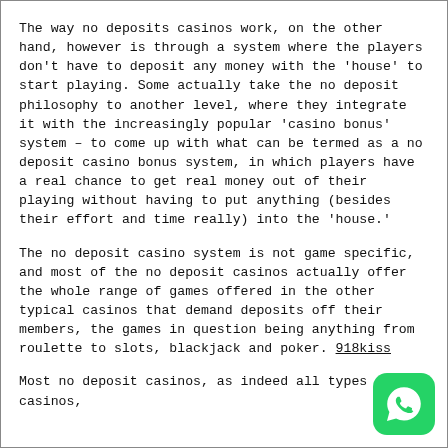The way no deposits casinos work, on the other hand, however is through a system where the players don't have to deposit any money with the 'house' to start playing. Some actually take the no deposit philosophy to another level, where they integrate it with the increasingly popular 'casino bonus' system – to come up with what can be termed as a no deposit casino bonus system, in which players have a real chance to get real money out of their playing without having to put anything (besides their effort and time really) into the 'house.'
The no deposit casino system is not game specific, and most of the no deposit casinos actually offer the whole range of games offered in the other typical casinos that demand deposits off their members, the games in question being anything from roulette to slots, blackjack and poker. 918kiss
Most no deposit casinos, as indeed all types of casinos,